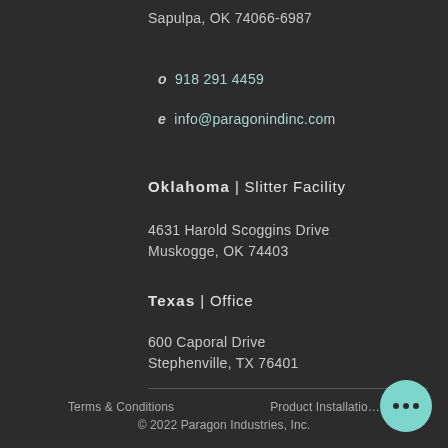Sapulpa, OK 74066-6987
o 918 291 4459
e info@paragonindinc.com
Oklahoma | Slitter Facility
4631 Harold Scoggins Drive
Muskogge, OK 74403
Texas | Office
600 Caporal Drive
Stephenville, TX 76401
Terms & Conditions   Product Installation   © 2022 Paragon Industries, Inc.